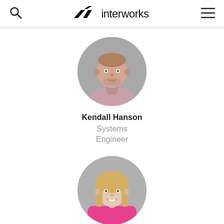interworks
[Figure (photo): Circular profile photo of Kendall Hanson, a man in a pink/mauve button-up shirt, against a gray background]
Kendall Hanson
Systems Engineer
[Figure (photo): Circular profile photo of a woman with blonde hair wearing a pink/magenta top, against a gray background]